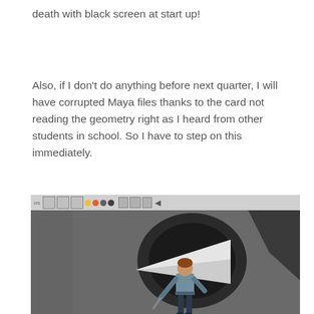death with black screen at start up!
Also, if I don't do anything before next quarter, I will have corrupted Maya files thanks to the card not reading the geometry right as I heard from other students in school. So I have to step on this immediately.
[Figure (screenshot): Screenshot of a Maya 3D software viewport showing a stylized 3D character standing in front of a large geometric shape or tunnel, rendered in grey tones with a dark background. A toolbar is visible at the top of the viewport.]